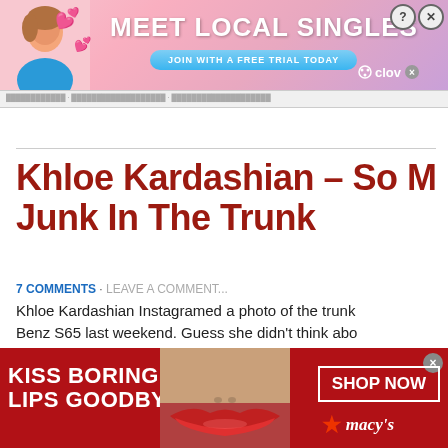[Figure (screenshot): Top banner advertisement: 'MEET LOCAL SINGLES – JOIN WITH A FREE TRIAL TODAY' with a woman photo, pink hearts, close/question icons, and Clov branding]
[Figure (screenshot): Navigation bar strip below top ad]
Khloe Kardashian – So Much Junk In The Trunk
7 COMMENTS · LEAVE A COMMENT...
Khloe Kardashian Instagramed a photo of the trunk of her Benz S65 last weekend. Guess she didn't think about ... new Range Rover or G-Wagon have more room for ...
[Figure (screenshot): Bottom banner advertisement for Macy's: 'KISS BORING LIPS GOODBYE' with lips photo and 'SHOP NOW' button with Macy's star logo]